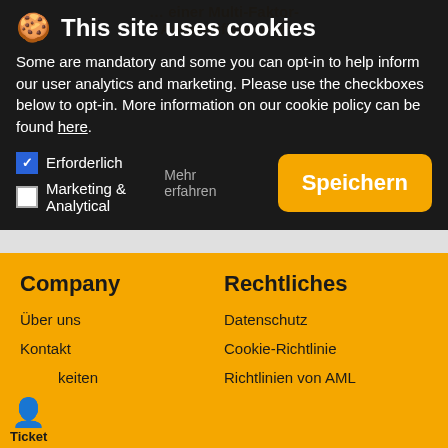[Figure (screenshot): Cookie consent banner overlay on a website with dark background, showing title 'This site uses cookies', descriptive text, checkboxes for Erforderlich and Marketing & Analytical, and a Speichern (Save) button. Below the banner is a grey background area and an orange footer with Company and Rechtliches columns containing navigation links, and a Ticket support widget.]